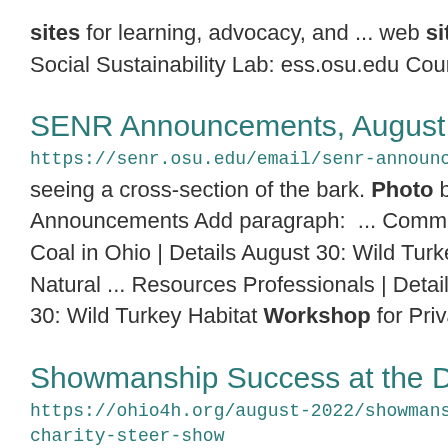sites for learning, advocacy, and ... web sites
Social Sustainability Lab: ess.osu.edu Course
SENR Announcements, August 12
https://senr.osu.edu/email/senr-announcements-aug
seeing a cross-section of the bark. Photo by ...
Announcements Add paragraph: ... Commun
Coal in Ohio | Details August 30: Wild Turkey
Natural ... Resources Professionals | Details a
30: Wild Turkey Habitat Workshop for Privat
Showmanship Success at the Dean's C
https://ohio4h.org/august-2022/showmanship-succ charity-steer-show
experience.” For additional information about